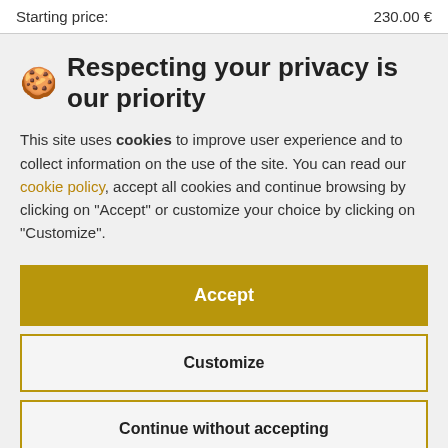Starting price:    230.00 €
🍪 Respecting your privacy is our priority
This site uses cookies to improve user experience and to collect information on the use of the site. You can read our cookie policy, accept all cookies and continue browsing by clicking on "Accept" or customize your choice by clicking on "Customize".
Accept
Customize
Continue without accepting